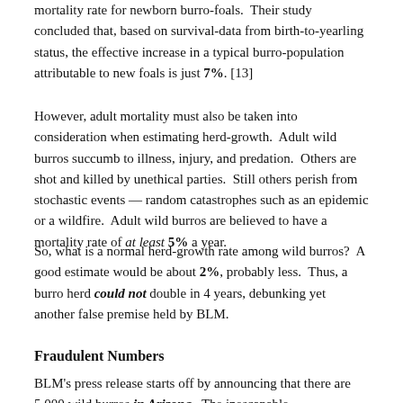mortality rate for newborn burro-foals.  Their study concluded that, based on survival-data from birth-to-yearling status, the effective increase in a typical burro-population attributable to new foals is just 7%. [13]
However, adult mortality must also be taken into consideration when estimating herd-growth.  Adult wild burros succumb to illness, injury, and predation.  Others are shot and killed by unethical parties.  Still others perish from stochastic events — random catastrophes such as an epidemic or a wildfire.  Adult wild burros are believed to have a mortality rate of at least 5% a year.
So, what is a normal herd-growth rate among wild burros?  A good estimate would be about 2%, probably less.  Thus, a burro herd could not double in 4 years, debunking yet another false premise held by BLM.
Fraudulent Numbers
BLM's press release starts off by announcing that there are 5,000 wild burros in Arizona.  The inescapable